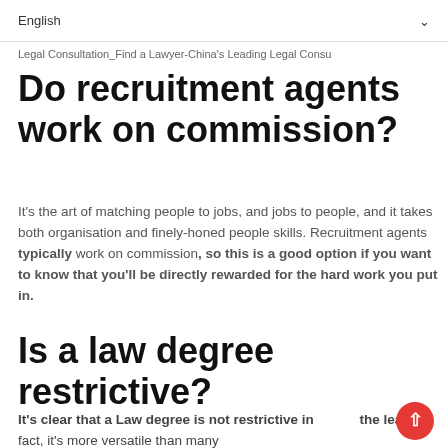English
Legal Consultation_Find a Lawyer-China's Leading Legal Consu
Do recruitment agents work on commission?
It's the art of matching people to jobs, and jobs to people, and it takes both organisation and finely-honed people skills. Recruitment agents typically work on commission, so this is a good option if you want to know that you'll be directly rewarded for the hard work you put in.
Is a law degree restrictive?
It's clear that a Law degree is not restrictive in the least; in fact, it's more versatile than many